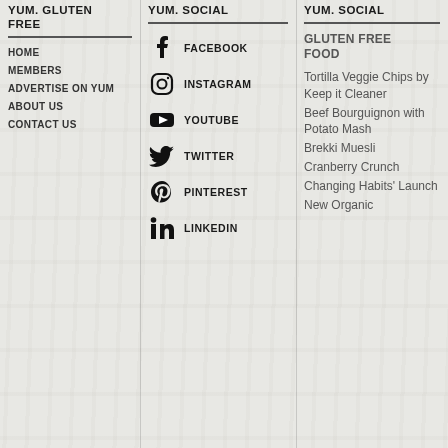YUM. GLUTEN FREE
HOME
MEMBERS
ADVERTISE ON YUM
ABOUT US
CONTACT US
YUM. SOCIAL
FACEBOOK
INSTAGRAM
YOUTUBE
TWITTER
PINTEREST
LINKEDIN
YUM. SOCIAL
GLUTEN FREE FOOD
Tortilla Veggie Chips by Keep it Cleaner
Beef Bourguignon with Potato Mash
Brekki Muesli
Cranberry Crunch
Changing Habits' Launch
New Organic